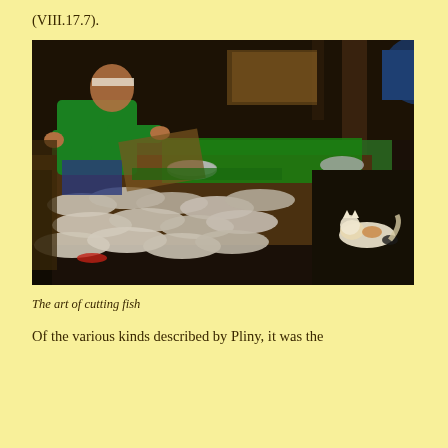(VIII.17.7).
[Figure (photo): A man in a green shirt cutting fish at a market stall. A large wooden table is covered with fish laid out on green leaves. A cat lies on the dark floor to the right.]
The art of cutting fish
Of the various kinds described by Pliny, it was the